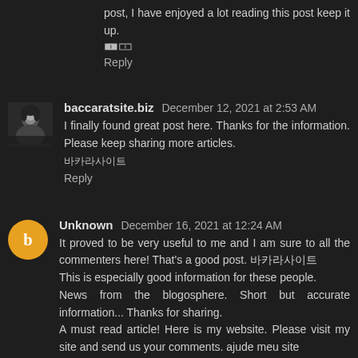post, I have enjoyed a lot reading this post keep it up.
🀰🀱
Reply
baccaratsite.biz  December 12, 2021 at 2:53 AM
I finally found great post here. Thanks for the information. Please keep sharing more articles.
바카라사이트
Reply
Unknown  December 16, 2021 at 12:24 AM
It proved to be very useful to me and I am sure to all the commenters here! That's a good post. 바카라사이트
This is especially good information for these people.
News from the blogosphere. Short but accurate information... Thanks for sharing.
A must read article! Here is my website. Please visit my site and send us your comments. ajude meu site